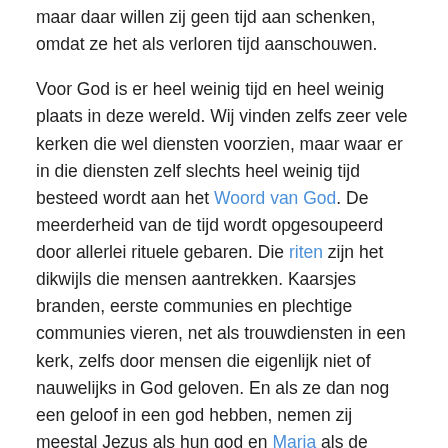maar daar willen zij geen tijd aan schenken, omdat ze het als verloren tijd aanschouwen.
Voor God is er heel weinig tijd en heel weinig plaats in deze wereld. Wij vinden zelfs zeer vele kerken die wel diensten voorzien, maar waar er in die diensten zelf slechts heel weinig tijd besteed wordt aan het Woord van God. De meerderheid van de tijd wordt opgesoupeerd door allerlei rituele gebaren. Die riten zijn het dikwijls die mensen aantrekken. Kaarsjes branden, eerste communies en plechtige communies vieren, net als trouwdiensten in een kerk, zelfs door mensen die eigenlijk niet of nauwelijks in God geloven. En als ze dan nog een geloof in een god hebben, nemen zij meestal Jezus als hun god en Maria als de 'Moeder van God'.
Als wij dit alles bekijken, komen wij ons zelf te vinden in een vacuüm. De leegte van deze ongelovige wereld. Daar